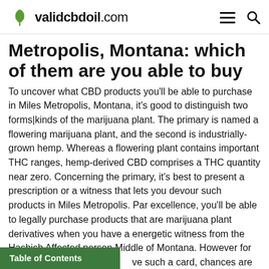validcbdoil.com
Metropolis, Montana: which of them are you able to buy
To uncover what CBD products you'll be able to purchase in Miles Metropolis, Montana, it's good to distinguish two forms|kinds of the marijuana plant. The primary is named a flowering marijuana plant, and the second is industrially-grown hemp. Whereas a flowering plant contains important THC ranges, hemp-derived CBD comprises a THC quantity near zero. Concerning the primary, it's best to present a prescription or a witness that lets you devour such products in Miles Metropolis. Par excellence, you'll be able to legally purchase products that are marijuana plant derivatives when you have a energetic witness from the Hashish Affected person Middle of Montana. However for ve such a card, chances are you'll
Table of Contents